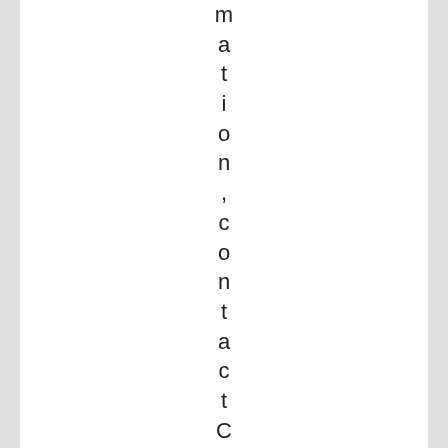m a t i o n , c o n t a c t C a
Confidențialitate și cookie-uri: acest sit folosește cookie-uri. Dacă continui să folosești acest sit web, ești de acord cu utilizarea lor. Pentru a afla mai multe, inclusiv cum să controlezi cookie-urile, uită-te aici: Politică cookie-uri
Accentă si Închide
o c